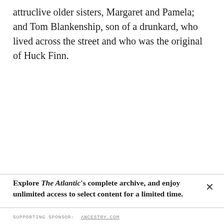attruclive older sisters, Margaret and Pamela; and Tom Blankenship, son of a drunkard, who lived across the street and who was the original of Huck Finn.
Explore The Atlantic's complete archive, and enjoy unlimited access to select content for a limited time.
SUPPORTING SPONSOR: ANCESTRY.COM